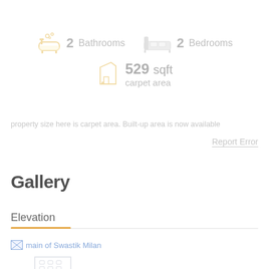[Figure (infographic): Property stats row: bath icon (2 Bathrooms), bed icon (2 Bedrooms), area icon (529 sqft carpet area)]
property size here is carpet area. Built-up area is now available
Report Error
Gallery
Elevation
[Figure (photo): main of Swastik Milan - building exterior illustration (light grey outline of a multi-storey building)]